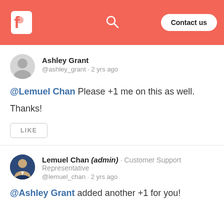F [logo] [search icon] Contact us
Ashley Grant
@ashley_grant · 2 yrs ago
@Lemuel Chan Please +1 me on this as well.
Thanks!
LIKE
Lemuel Chan (admin) · Customer Support Representative
@lemuel_chan · 2 yrs ago
@Ashley Grant added another +1 for you!